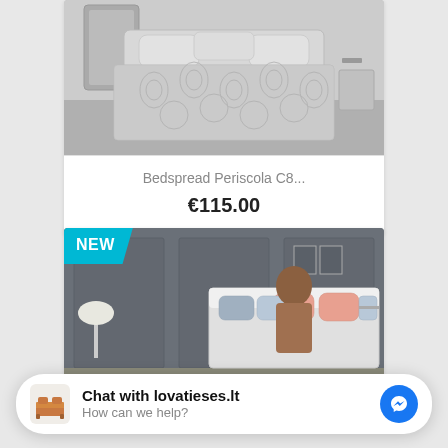[Figure (photo): Photo of a bed with gray patterned bedspread in a bedroom setting]
Bedspread Periscola C8...
€115.00
[Figure (photo): Photo of a modern bedroom with blue-gray walls and colorful pillows, with a NEW badge overlay]
NEW
Chat with lovatieses.lt
How can we help?